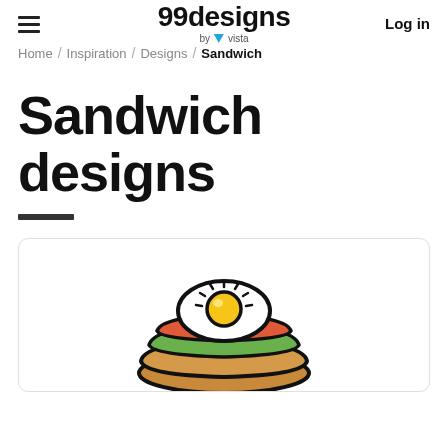99designs by vista | Log in
Home / Inspiration / Designs / Sandwich
Sandwich designs
[Figure (illustration): A cartoon sandwich illustration featuring an open-faced sandwich with a fried egg (yellow yolk, white albumen), green avocado, orange/red tomato, all on brown bread, with thick black cartoon outlines. Shown inside a white card with rounded corners and a light gray border.]